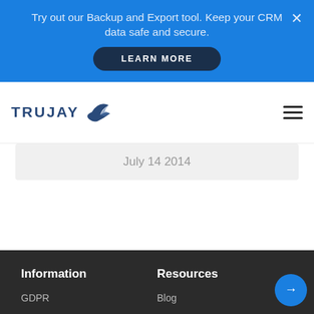Try out our Backup and Export tool. Keep your CRM data safe and secure.
LEARN MORE
[Figure (logo): Trujay logo with bird/fish swoosh icon in dark blue]
July 14 2014
Information
Resources
GDPR
Blog
To continue using this website, you have to allow cookies in accordance with our Cookie Policy